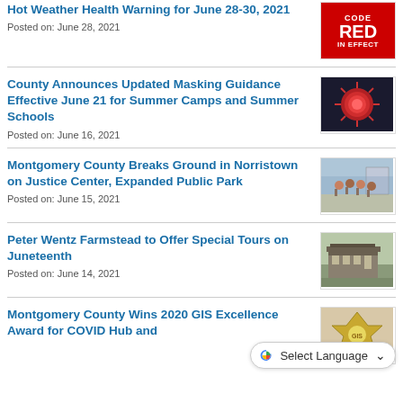Hot Weather Health Warning for June 28-30, 2021
Posted on: June 28, 2021
[Figure (other): Code Red In Effect red warning badge]
County Announces Updated Masking Guidance Effective June 21 for Summer Camps and Summer Schools
Posted on: June 16, 2021
[Figure (photo): Coronavirus particle microscopy image]
Montgomery County Breaks Ground in Norristown on Justice Center, Expanded Public Park
Posted on: June 15, 2021
[Figure (photo): Group of people at groundbreaking ceremony]
Peter Wentz Farmstead to Offer Special Tours on Juneteenth
Posted on: June 14, 2021
[Figure (photo): Stone farmhouse building exterior]
Montgomery County Wins 2020 GIS Excellence Award for COVID Hub and
[Figure (logo): GIS award badge/seal]